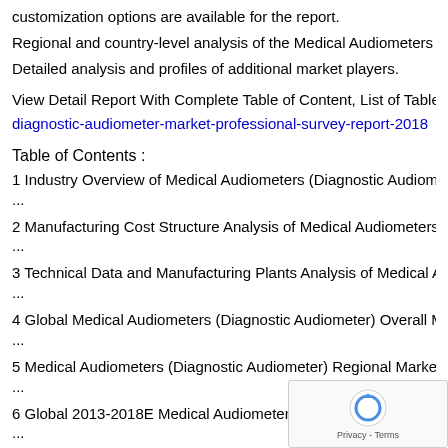customization options are available for the report.
Regional and country-level analysis of the Medical Audiometers (D...
Detailed analysis and profiles of additional market players.
View Detail Report With Complete Table of Content, List of Table a... diagnostic-audiometer-market-professional-survey-report-2018
Table of Contents :
1 Industry Overview of Medical Audiometers (Diagnostic Audiomete...
...
2 Manufacturing Cost Structure Analysis of Medical Audiometers (...
...
3 Technical Data and Manufacturing Plants Analysis of Medical Au...
...
4 Global Medical Audiometers (Diagnostic Audiometer) Overall Ma...
...
5 Medical Audiometers (Diagnostic Audiometer) Regional Market A...
...
6 Global 2013-2018E Medical Audiometers (Diagnostic...
...